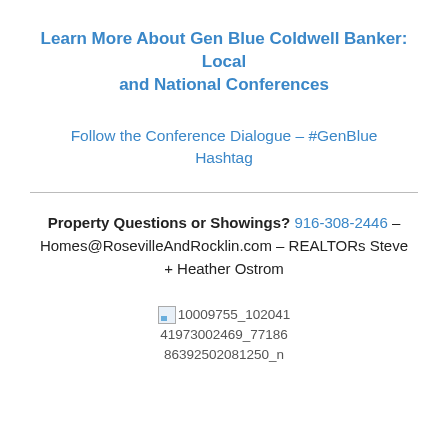Learn More About Gen Blue Coldwell Banker: Local and National Conferences
Follow the Conference Dialogue – #GenBlue Hashtag
Property Questions or Showings? 916-308-2446 – Homes@RosevilleAndRocklin.com – REALTORs Steve + Heather Ostrom
[Figure (other): Broken image placeholder with filename: 10009755_10204141973002469_7718686392502081250_n]